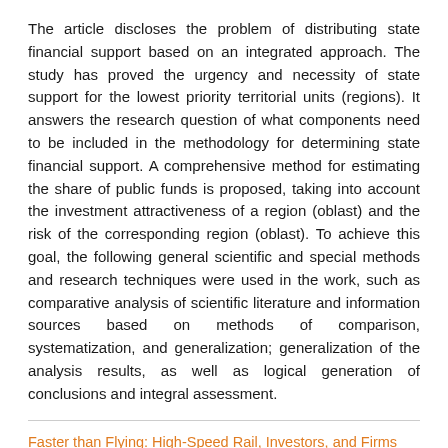The article discloses the problem of distributing state financial support based on an integrated approach. The study has proved the urgency and necessity of state support for the lowest priority territorial units (regions). It answers the research question of what components need to be included in the methodology for determining state financial support. A comprehensive method for estimating the share of public funds is proposed, taking into account the investment attractiveness of a region (oblast) and the risk of the corresponding region (oblast). To achieve this goal, the following general scientific and special methods and research techniques were used in the work, such as comparative analysis of scientific literature and information sources based on methods of comparison, systematization, and generalization; generalization of the analysis results, as well as logical generation of conclusions and integral assessment.
Faster than Flying: High-Speed Rail, Investors, and Firms
Autore, Don M.,Jiang, Danling,Qin, Lu,Zhu, Hongquan
SSRN